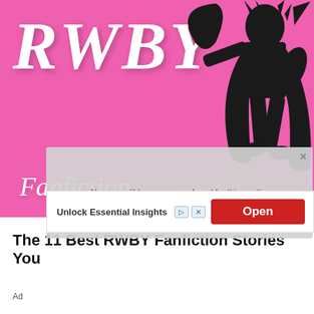[Figure (illustration): RWBY Fanfiction banner image: bright pink background with large white italic 'RWBY' text and 'Fanfiction' in italic script. Black silhouette of an anime-style character wielding a scythe on the right side.]
[Figure (screenshot): Video player overlay showing 'No compatible source was found for this media.' error message on grey background, with a close button (x) in top right.]
[Figure (screenshot): Advertisement banner: 'Unlock Essential Insights' text on white, with red 'Open' button, ad attribution icons (arrow and x), and 'Ad' label below.]
The 11 Best RWBY Fanfiction Stories You